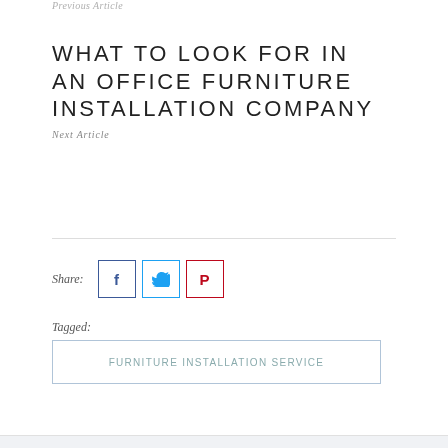Previous Article
WHAT TO LOOK FOR IN AN OFFICE FURNITURE INSTALLATION COMPANY
Next Article
Share:
[Figure (other): Social share buttons: Facebook (f), Twitter (bird icon), Pinterest (P)]
Tagged:
FURNITURE INSTALLATION SERVICE